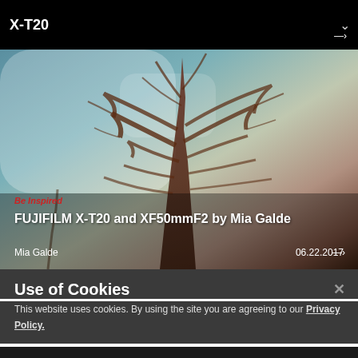X-T20
[Figure (photo): Fujifilm website screenshot showing a hero image with a tree against a teal/blue sky, with text overlay reading 'Be Inspired' in red, 'FUJIFILM X-T20 and XF50mmF2 by Mia Galde' in white, and metadata showing 'Mia Galde' and date '06.22.2017']
Be Inspired
FUJIFILM X-T20 and XF50mmF2 by Mia Galde
Mia Galde	06.22.2017
Use of Cookies
This website uses cookies. By using the site you are agreeing to our Privacy Policy.